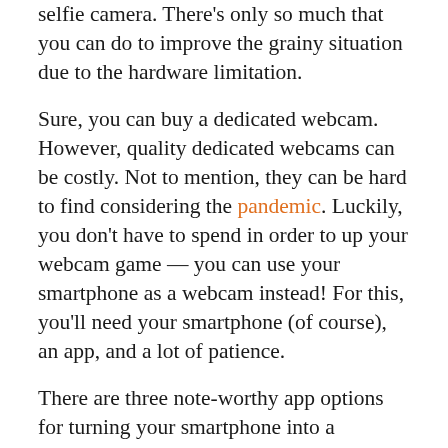selfie camera. There's only so much that you can do to improve the grainy situation due to the hardware limitation.
Sure, you can buy a dedicated webcam. However, quality dedicated webcams can be costly. Not to mention, they can be hard to find considering the pandemic. Luckily, you don't have to spend in order to up your webcam game — you can use your smartphone as a webcam instead! For this, you'll need your smartphone (of course), an app, and a lot of patience.
There are three note-worthy app options for turning your smartphone into a portable webcam. Here are those:
XSplit VCam and Connect Webcam: